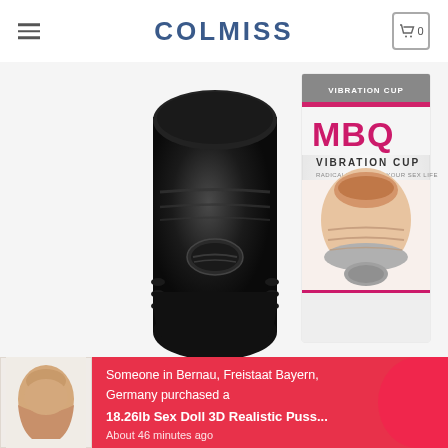COLMISS
[Figure (photo): Product photo of MBQ Vibration Cup male masturbator in black, shown next to its product box which displays the MBQ VIBRATION CUP branding and product image on white/grey background]
[Figure (photo): Thumbnail image of a torso-shaped sex doll product shown in the notification bar]
Someone in Bernau, Freistaat Bayern, Germany purchased a
18.26lb Sex Doll 3D Realistic Puss...
About 46 minutes ago